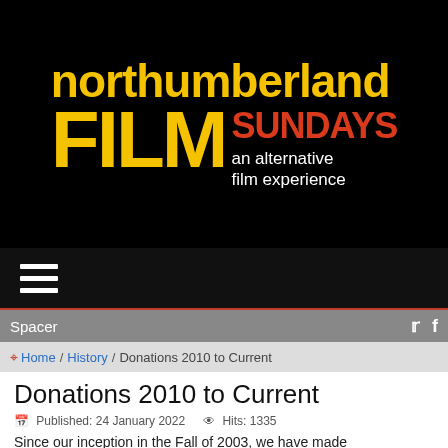[Figure (logo): Northumberland Film Sundays logo — black background, yellow bold text 'northumberland' on top, large yellow 'FILM' with red 'SUNDAYS' and white 'an alternative film experience' tagline]
[Figure (infographic): Hamburger menu icon (three white horizontal lines) on dark background]
Spacer
Home / History / Donations 2010 to Current
Donations 2010 to Current
Published: 24 January 2022   Hits: 1335
Since our inception in the Fall of 2003, we have made